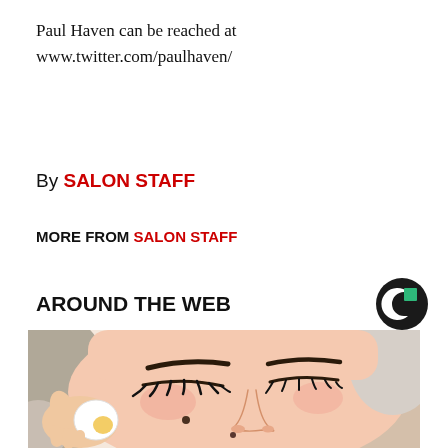Paul Haven can be reached at www.twitter.com/paulhaven/
By SALON STAFF
MORE FROM SALON STAFF
AROUND THE WEB
[Figure (illustration): Illustration of a person lying down with closed eyes receiving a facial treatment, with a hand holding what appears to be a cotton pad or egg near their cheek. Cartoon/illustrated style.]